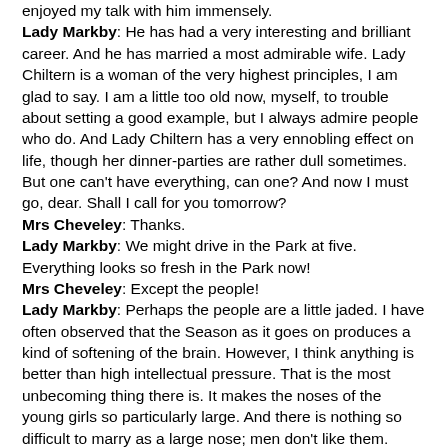enjoyed my talk with him immensely. Lady Markby: He has had a very interesting and brilliant career. And he has married a most admirable wife. Lady Chiltern is a woman of the very highest principles, I am glad to say. I am a little too old now, myself, to trouble about setting a good example, but I always admire people who do. And Lady Chiltern has a very ennobling effect on life, though her dinner-parties are rather dull sometimes. But one can't have everything, can one? And now I must go, dear. Shall I call for you tomorrow? Mrs Cheveley: Thanks. Lady Markby: We might drive in the Park at five. Everything looks so fresh in the Park now! Mrs Cheveley: Except the people! Lady Markby: Perhaps the people are a little jaded. I have often observed that the Season as it goes on produces a kind of softening of the brain. However, I think anything is better than high intellectual pressure. That is the most unbecoming thing there is. It makes the noses of the young girls so particularly large. And there is nothing so difficult to marry as a large nose; men don't like them. Good-night, dear! [To LADY CHILTERN.] Good-night, Gertrude! [Goes out on LORD CAVERSHAM'S arm.]